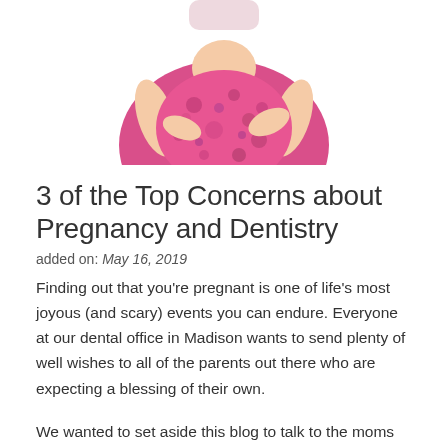[Figure (photo): Pregnant woman in pink floral dress holding her belly, cropped to show torso only]
3 of the Top Concerns about Pregnancy and Dentistry
added on: May 16, 2019
Finding out that you’re pregnant is one of life’s most joyous (and scary) events you can endure. Everyone at our dental office in Madison wants to send plenty of well wishes to all of the parents out there who are expecting a blessing of their own.
We wanted to set aside this blog to talk to the moms out there. Because whether you’re new to pregnancy and experiencing every special moment for the very